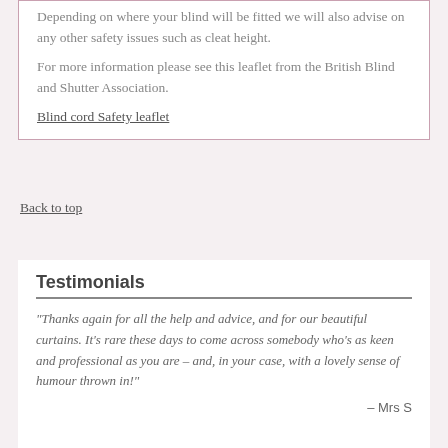Depending on where your blind will be fitted we will also advise on any other safety issues such as cleat height.
For more information please see this leaflet from the British Blind and Shutter Association.
Blind cord Safety leaflet
Back to top
Testimonials
“Thanks again for all the help and advice, and for our beautiful curtains. It’s rare these days to come across somebody who’s as keen and professional as you are – and, in your case, with a lovely sense of humour thrown in!”
– Mrs S